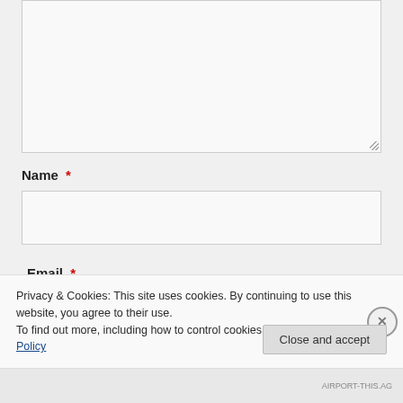[Figure (screenshot): A text area input box (large, empty, with resize handle at bottom-right corner)]
Name *
[Figure (screenshot): A text input box for the Name field]
Email *
Privacy & Cookies: This site uses cookies. By continuing to use this website, you agree to their use.
To find out more, including how to control cookies, see here: Cookie Policy
Close and accept